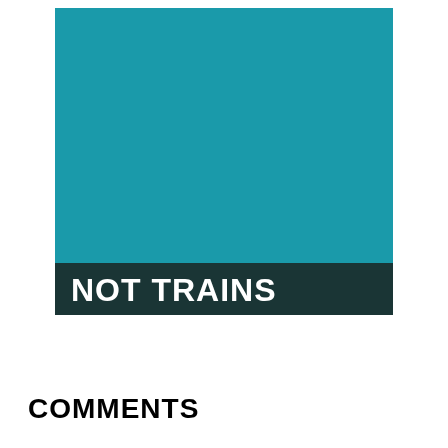[Figure (illustration): Large teal/cyan colored rectangle with a dark teal banner at the bottom containing the white bold text 'NOT TRAINS']
NOT TRAINS
COMMENTS